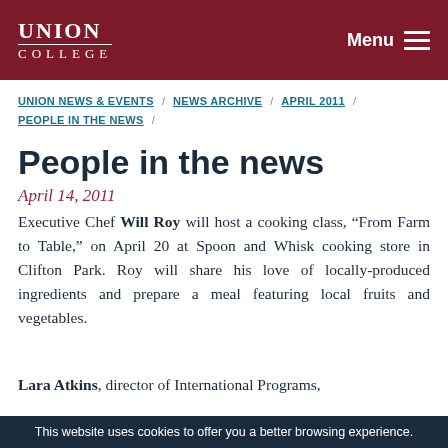UNION COLLEGE / Menu
UNION NEWS & EVENTS / NEWS ARCHIVE / APRIL 2011 / PEOPLE IN THE NEWS /
People in the news
April 14, 2011
Executive Chef Will Roy will host a cooking class, “From Farm to Table,” on April 20 at Spoon and Whisk cooking store in Clifton Park. Roy will share his love of locally-produced ingredients and prepare a meal featuring local fruits and vegetables.
Lara Atkins, director of International Programs,
This website uses cookies to offer you a better browsing experience.